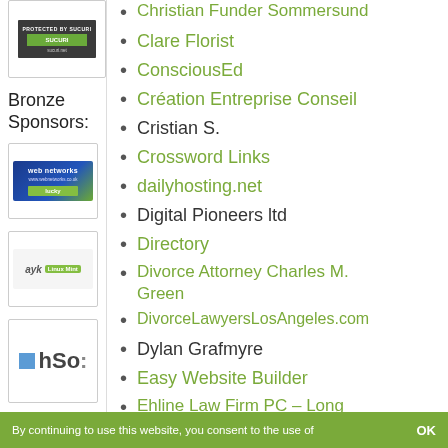[Figure (logo): Sucuri security logo - Protected by Sucuri badge with green bar]
Bronze Sponsors:
[Figure (logo): Web networks sponsor logo with blue and green design]
[Figure (logo): ayk Linux Mint sponsor logo]
[Figure (logo): hSo: sponsor logo with blue square]
Christian Funder Sommersund
Clare Florist
ConsciousEd
Création Entreprise Conseil
Cristian S.
Crossword Links
dailyhosting.net
Digital Pioneers ltd
Directory
Divorce Attorney Charles M. Green
DivorceLawyersLosAngeles.com
Dylan Grafmyre
Easy Website Builder
Ehline Law Firm PC – Long Beach
Emilio A. M.
By continuing to use this website, you consent to the use of    OK